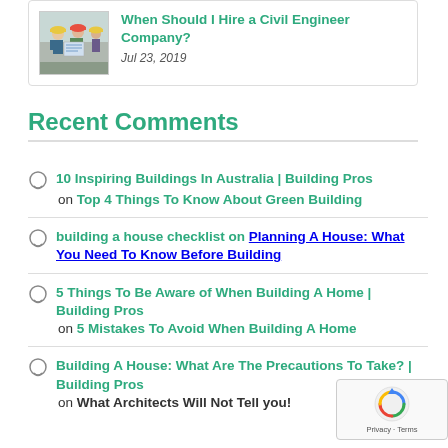[Figure (photo): Thumbnail image of people in hard hats looking at blueprints or plans at a construction site]
When Should I Hire a Civil Engineer Company?
Jul 23, 2019
Recent Comments
10 Inspiring Buildings In Australia | Building Pros on Top 4 Things To Know About Green Building
building a house checklist on Planning A House: What You Need To Know Before Building
5 Things To Be Aware of When Building A Home | Building Pros on 5 Mistakes To Avoid When Building A Home
Building A House: What Are The Precautions To Take? | Building Pros on What Architects Will Not Tell you!